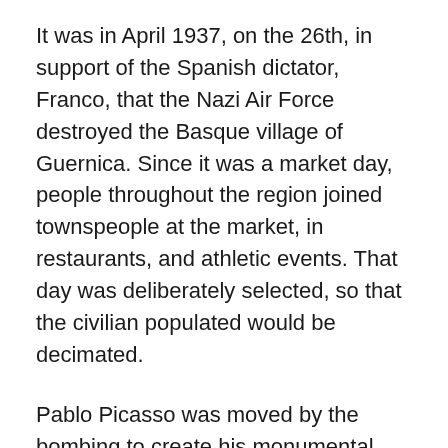It was in April 1937, on the 26th, in support of the Spanish dictator, Franco, that the Nazi Air Force destroyed the Basque village of Guernica. Since it was a market day, people throughout the region joined townspeople at the market, in restaurants, and athletic events. That day was deliberately selected, so that the civilian populated would be decimated.
Pablo Picasso was moved by the bombing to create his monumental painting, “Guernica.” This work was judged by theologian Paul Tillich to be the greatest religious painting of the 20th century. “Religious,” because it brings the viewer face-to-face with the depths of evil, with terrifying effect. The artist depicts dying children with their mothers screaming in agony, a dead fighter with the wounds of Jesus on one hand, a broken sword in the other. The painting is dominated by two dying animals—